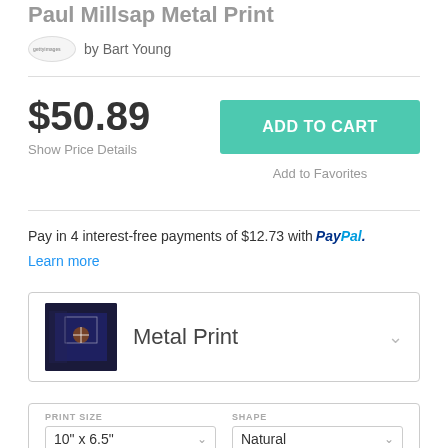Paul Millsap Metal Print
by Bart Young
$50.89
Show Price Details
ADD TO CART
Add to Favorites
Pay in 4 interest-free payments of $12.73 with PayPal. Learn more
Metal Print
PRINT SIZE
SHAPE
10" x 6.5"
Natural